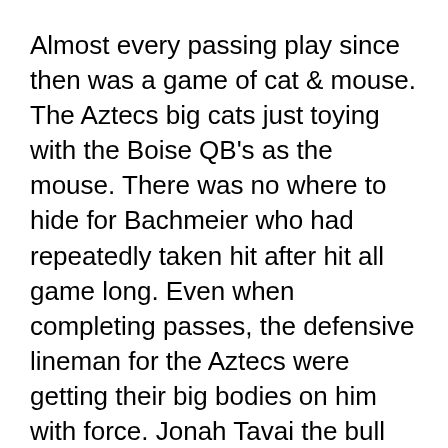Almost every passing play since then was a game of cat & mouse. The Aztecs big cats just toying with the Boise QB's as the mouse. There was no where to hide for Bachmeier who had repeatedly taken hit after hit all game long. Even when completing passes, the defensive lineman for the Aztecs were getting their big bodies on him with force. Jonah Tavai the bull had lineup up in several different spots around the line of scrimmage and the Boise offensive line could not contain him.
Block him to the left and Bachmeier would run right into his pursuit. None was more ferocious than when Tavai grabbed a